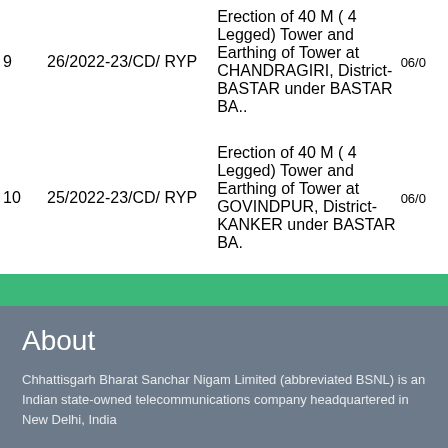| # | Reference | Description | Date |
| --- | --- | --- | --- |
| 9 | 26/2022-23/CD/ RYP | Erection of 40 M ( 4 Legged) Tower and Earthing of Tower at CHANDRAGIRI, District-BASTAR under BASTAR BA.. | 06/0 |
| 10 | 25/2022-23/CD/ RYP | Erection of 40 M ( 4 Legged) Tower and Earthing of Tower at GOVINDPUR, District-KANKER under BASTAR BA. | 06/0 |
About
Chhattisgarh Bharat Sanchar Nigam Limited (abbreviated BSNL) is an Indian state-owned telecommunications company headquartered in New Delhi, India
BSNL is India's oldest and largest communication service provider